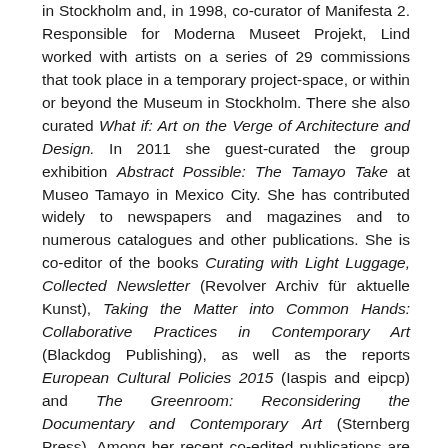in Stockholm and, in 1998, co-curator of Manifesta 2. Responsible for Moderna Museet Projekt, Lind worked with artists on a series of 29 commissions that took place in a temporary project-space, or within or beyond the Museum in Stockholm. There she also curated What if: Art on the Verge of Architecture and Design. In 2011 she guest-curated the group exhibition Abstract Possible: The Tamayo Take at Museo Tamayo in Mexico City. She has contributed widely to newspapers and magazines and to numerous catalogues and other publications. She is co-editor of the books Curating with Light Luggage, Collected Newsletter (Revolver Archiv für aktuelle Kunst), Taking the Matter into Common Hands: Collaborative Practices in Contemporary Art (Blackdog Publishing), as well as the reports European Cultural Policies 2015 (Iaspis and eipcp) and The Greenroom: Reconsidering the Documentary and Contemporary Art (Sternberg Press). Among her recent co-edited publications are Contemporary Art and Its Commercial Markets: A Report on Current Conditions and Future Scenarios, Performing the Curatorial: With and Beyond Art, and Art and the F Word: Reflections on the Browning of Europe, all at Sternberg Press. She edited Abstraction as part of MIT's and Whitechapel Gallery's ongoing Documents of Contemporary Art...